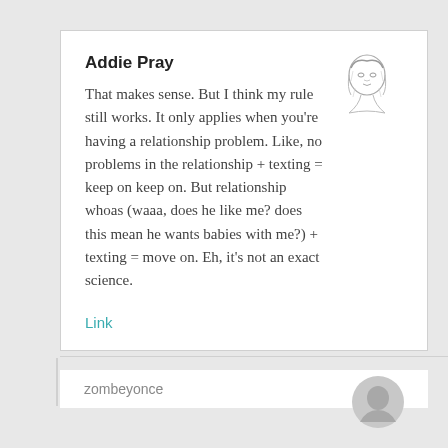Addie Pray
That makes sense. But I think my rule still works. It only applies when you're having a relationship problem. Like, no problems in the relationship + texting = keep on keep on. But relationship whoas (waaa, does he like me? does this mean he wants babies with me?) + texting = move on. Eh, it's not an exact science.
Link
zombeyonce